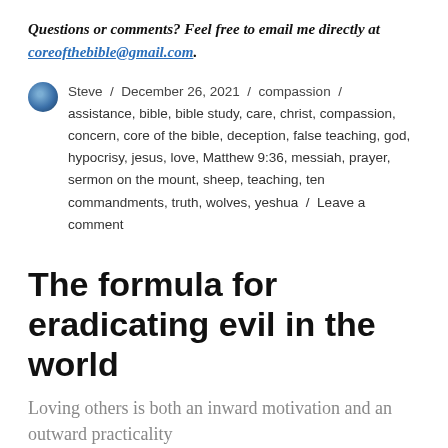Questions or comments? Feel free to email me directly at coreofthebible@gmail.com.
Steve / December 26, 2021 / compassion / assistance, bible, bible study, care, christ, compassion, concern, core of the bible, deception, false teaching, god, hypocrisy, jesus, love, Matthew 9:36, messiah, prayer, sermon on the mount, sheep, teaching, ten commandments, truth, wolves, yeshua / Leave a comment
The formula for eradicating evil in the world
Loving others is both an inward motivation and an outward practicality